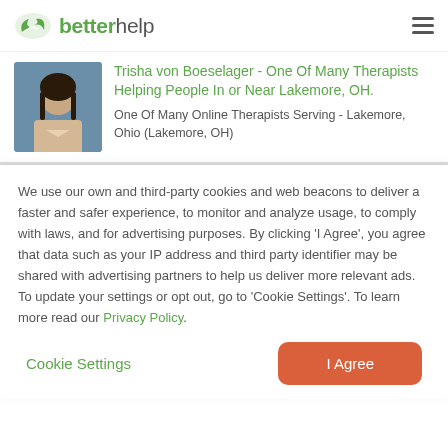betterhelp
Trisha von Boeselager - One Of Many Therapists Helping People In or Near Lakemore, OH.
One Of Many Online Therapists Serving - Lakemore, Ohio (Lakemore, OH)
We use our own and third-party cookies and web beacons to deliver a faster and safer experience, to monitor and analyze usage, to comply with laws, and for advertising purposes. By clicking 'I Agree', you agree that data such as your IP address and third party identifier may be shared with advertising partners to help us deliver more relevant ads. To update your settings or opt out, go to 'Cookie Settings'. To learn more read our Privacy Policy.
Cookie Settings
I Agree